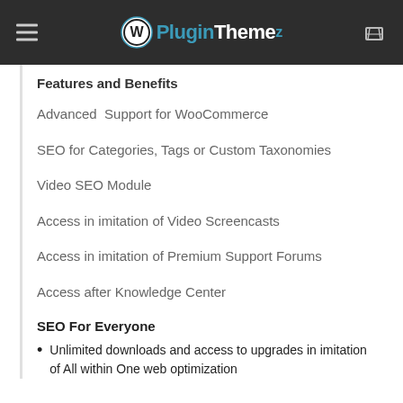WPPluginTheme
Features and Benefits
Advanced  Support for WooCommerce
SEO for Categories, Tags or Custom Taxonomies
Video SEO Module
Access in imitation of Video Screencasts
Access in imitation of Premium Support Forums
Access after Knowledge Center
SEO For Everyone
Unlimited downloads and access to upgrades in imitation of All within One web optimization